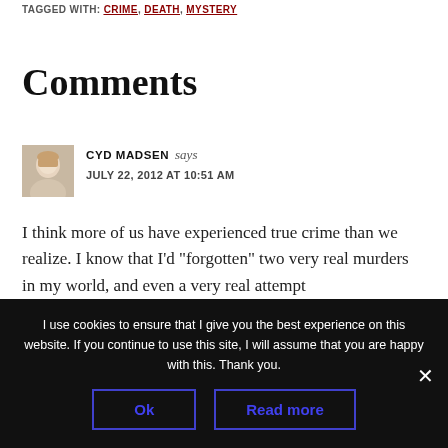TAGGED WITH: CRIME, DEATH, MYSTERY
Comments
CYD MADSEN says
JULY 22, 2012 AT 10:51 AM
I think more of us have experienced true crime than we realize. I know that I’d “forgotten” two very real murders in my world, and even a very real attempt
I use cookies to ensure that I give you the best experience on this website. If you continue to use this site, I will assume that you are happy with this. Thank you.